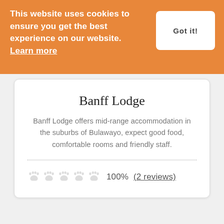This website uses cookies to ensure you get the best experience on our website. Learn more
Got it!
Banff Lodge
Banff Lodge offers mid-range accommodation in the suburbs of Bulawayo, expect good food, comfortable rooms and friendly staff.
100%  (2 reviews)